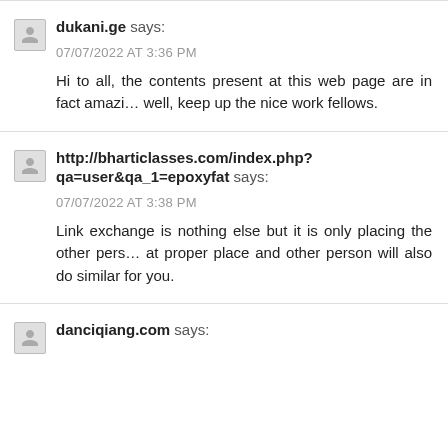dukani.ge says:
07/07/2022 AT 3:36 PM
Hi to all, the contents present at this web page are in fact amazing well, keep up the nice work fellows.
http://bharticlasses.com/index.php?qa=user&qa_1=epoxyfat says:
07/07/2022 AT 3:38 PM
Link exchange is nothing else but it is only placing the other person's weblog at proper place and other person will also do similar for you.
danciqiang.com says: